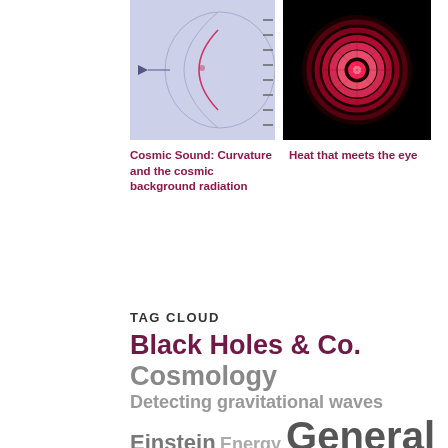[Figure (schematic): Cosmic sound curvature diagram on light purple background showing lens/eye shape with arc]
[Figure (photo): Heat visualization - glowing red concentric circles on black background]
Cosmic Sound: Curvature and the cosmic background radiation
Heat that meets the eye
TAG CLOUD
Black Holes & Co. Cosmology Detecting gravitational waves Einstein Energy General relativity General theory of relativity Geometry Gravitation Gravitational wave sources Gravitational